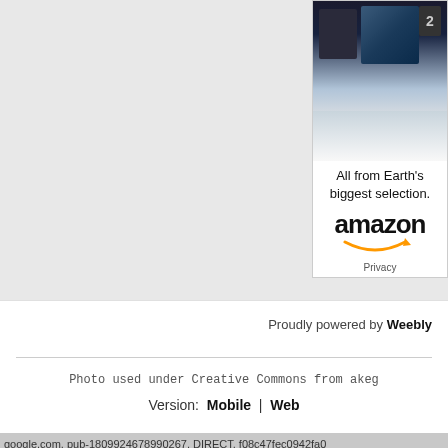[Figure (screenshot): Amazon advertisement banner showing movie covers at top, fading into white, with text 'All from Earth's biggest selection.' and Amazon logo with orange arrow, followed by 'Privacy' link at bottom]
Proudly powered by Weebly
Photo used under Creative Commons from akeg
Version:  Mobile  |  Web
google.com, pub-1809924678990267, DIRECT, f08c47fec0942fa0